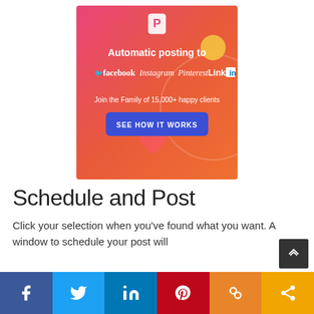[Figure (infographic): Advertisement banner with gradient pink-to-orange background. Shows 'P' logo at top, text 'Automatic posting to' with social media logos (Twitter, facebook, Instagram, Pinterest, LinkedIn), 'Join the Family of 15,000+ happy clients', and a blue 'SEE HOW IT WORKS' button. Decorative circle and heart shapes visible.]
Schedule and Post
Click your selection when you've found what you want. A window to schedule your post will
[Figure (infographic): Social media share bar at bottom with Facebook (blue), Twitter (light blue), LinkedIn (blue), Pinterest (red), a bubbles icon (orange-brown), and share icon (yellow-orange) buttons.]